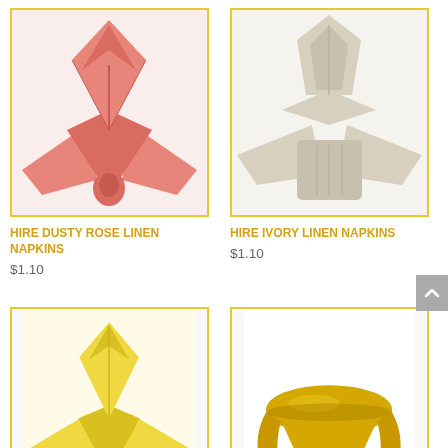[Figure (photo): Folded dusty rose linen napkin in bishop's hat style fold, salmon/coral pink color]
[Figure (photo): Folded ivory linen napkin in bishop's hat fold style, cream/beige color]
Hire Dusty Rose Linen Napkins
$1.10
Hire Ivory Linen Napkins
$1.10
[Figure (photo): Folded yellow linen napkin in bishop's hat fold style, bright yellow color]
[Figure (photo): Yellow/gold satin round tablecloth draped over a round table]